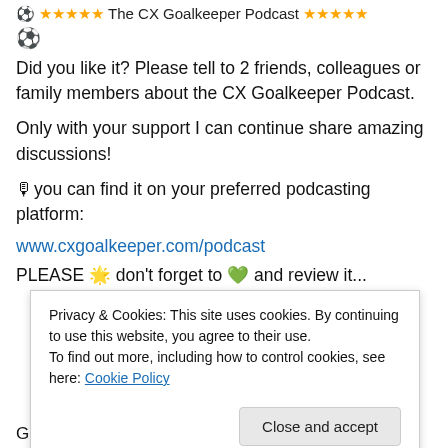⚽ ★★★★★ The CX Goalkeeper Podcast ★★★★★
[Figure (other): Soccer ball emoji icon]
Did you like it? Please tell to 2 friends, colleagues or family members about the CX Goalkeeper Podcast.
Only with your support I can continue share amazing discussions!
🎙you can find it on your preferred podcasting platform:
www.cxgoalkeeper.com/podcast
PLEASE 🌟 don't forget to 💚 and review it...
Google Podcast: https://bit.ly/3IxKm0aCXGK
Privacy & Cookies: This site uses cookies. By continuing to use this website, you agree to their use.
To find out more, including how to control cookies, see here: Cookie Policy